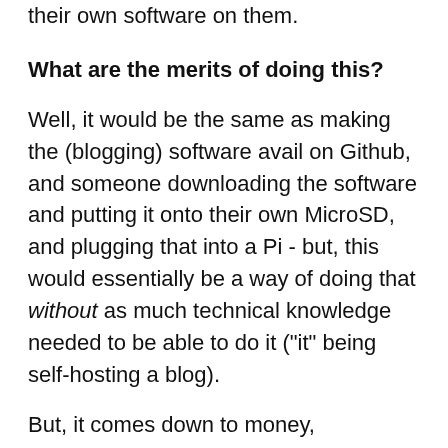their own software on them.
What are the merits of doing this?
Well, it would be the same as making the (blogging) software avail on Github, and someone downloading the software and putting it onto their own MicroSD, and plugging that into a Pi - but, this would essentially be a way of doing that without as much technical knowledge needed to be able to do it ("it" being self-hosting a blog).
But, it comes down to money, essentially. Or, "why pay money for something that is essentially free if someone possesses the technical know-how?" And should someone try to turn a buck off of wanting an "easy solution" to self-hosting a blog? Obviously the answer is "no!", so if I make any